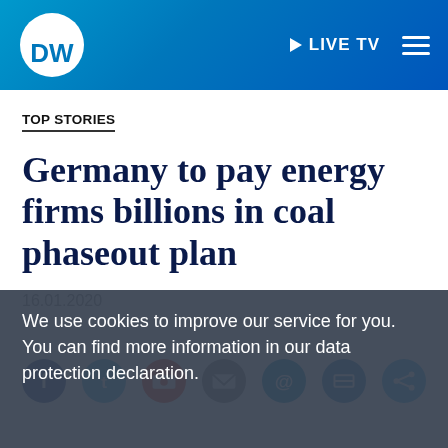[Figure (logo): DW (Deutsche Welle) logo and navigation header bar with blue gradient background, LIVE TV button and hamburger menu]
TOP STORIES
Germany to pay energy firms billions in coal phaseout plan
16.01.2020
[Figure (other): Social media share icons row: Facebook, Twitter, Google+, Email, and other sharing buttons]
We use cookies to improve our service for you. You can find more information in our data protection declaration.